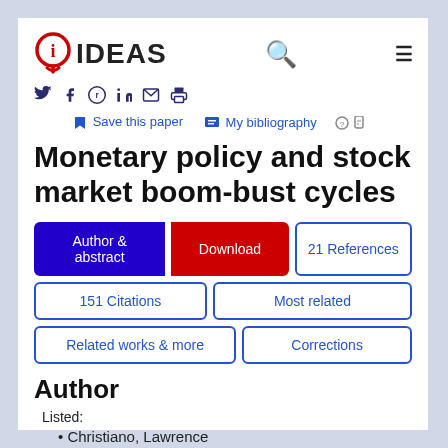IDEAS (logo) | Search | Menu
Social share icons: Twitter, Facebook, Reddit, LinkedIn, Email, Print
Save this paper | My bibliography
Monetary policy and stock market boom-bust cycles
Author & abstract | Download | 21 References | 151 Citations | Most related | Related works & more | Corrections
Author
Listed:
Christiano, Lawrence
Motto, Roberto